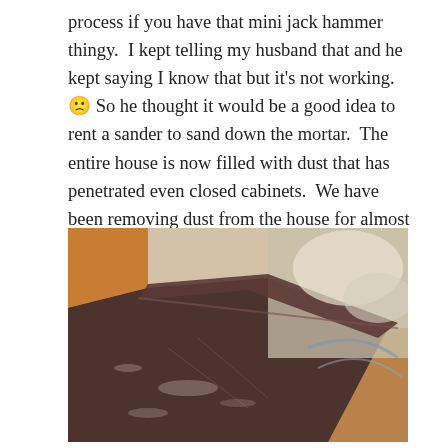process if you have that mini jack hammer thingy.  I kept telling my husband that and he kept saying I know that but it's not working. 🙁 So he thought it would be a good idea to rent a sander to sand down the mortar.  The entire house is now filled with dust that has penetrated even closed cabinets.  We have been removing dust from the house for almost two weeks and I don't see an end to it.
[Figure (photo): Close-up photo of a dark brown countertop or tile edge covered with fine white dust, with blurred background showing orange and cream-colored items.]